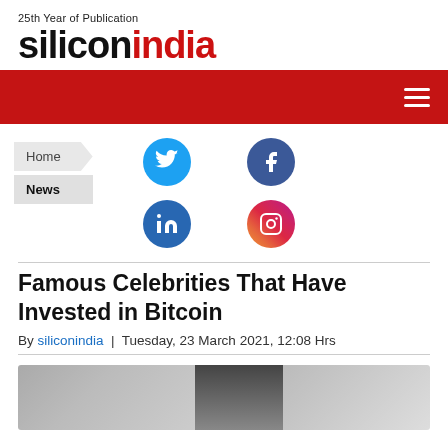25th Year of Publication siliconindia
[Figure (logo): siliconindia logo with '25th Year of Publication' tagline above in black and red text]
[Figure (infographic): Red navigation bar with hamburger menu icon on the right]
[Figure (infographic): Breadcrumb navigation showing Home > News, with Twitter, Facebook, LinkedIn, and Instagram social media icons]
Famous Celebrities That Have Invested in Bitcoin
By siliconindia | Tuesday, 23 March 2021, 12:08 Hrs
[Figure (photo): Partial article image showing blurred background with dark objects]